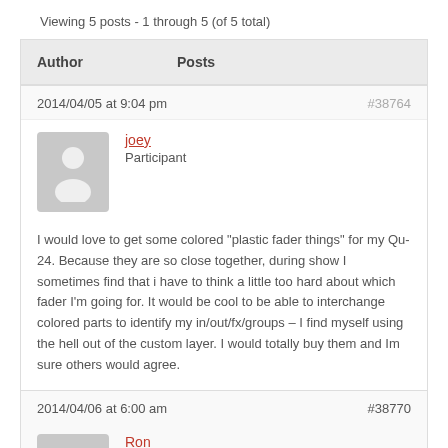Viewing 5 posts - 1 through 5 (of 5 total)
| Author | Posts |
| --- | --- |
2014/04/05 at 9:04 pm
#38764
joey
Participant
I would love to get some colored "plastic fader things" for my Qu-24. Because they are so close together, during show I sometimes find that i have to think a little too hard about which fader I'm going for. It would be cool to be able to interchange colored parts to identify my in/out/fx/groups – I find myself using the hell out of the custom layer. I would totally buy them and Im sure others would agree.
2014/04/06 at 6:00 am
#38770
Ron